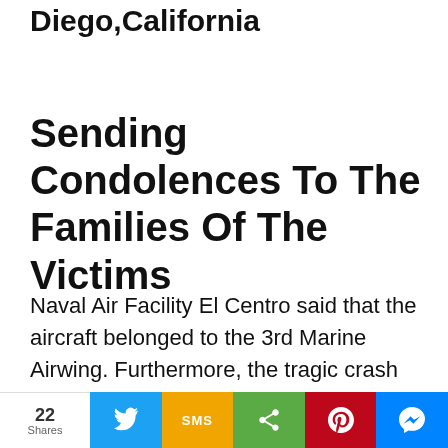Diego,California
Sending Condolences To The Families Of The Victims
Naval Air Facility El Centro said that the aircraft belonged to the 3rd Marine Airwing. Furthermore, the tragic crash landed in
22 Shares | Twitter | SMS | Share | Pinterest | Messenger